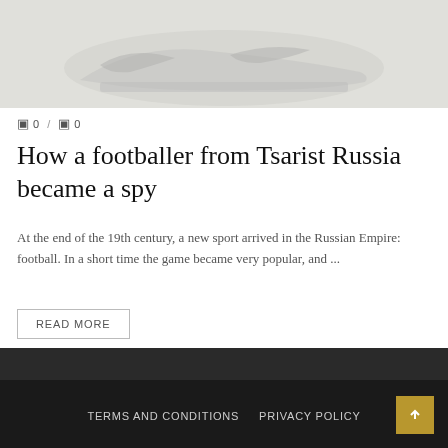[Figure (photo): Close-up of a Nike sneaker shoe on a light grey/white background]
🗨 0 / 🗨 0
How a footballer from Tsarist Russia became a spy
At the end of the 19th century, a new sport arrived in the Russian Empire: football. In a short time the game became very popular, and ...
READ MORE
TERMS AND CONDITIONS   PRIVACY POLICY